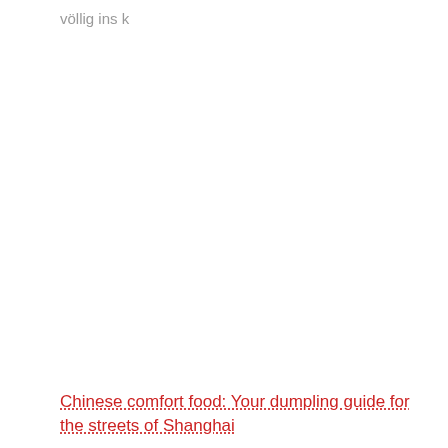völlig ins k
Chinese comfort food: Your dumpling guide for the streets of Shanghai